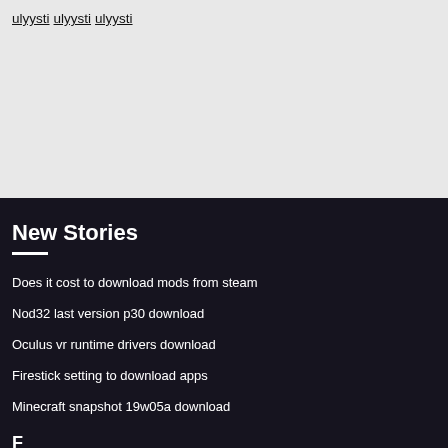ulyysti
ulyysti
ulyysti
New Stories
Does it cost to download mods from steam
Nod32 last version p30 download
Oculus vr runtime drivers download
Firestick setting to download apps
Minecraft snapshot 19w05a download